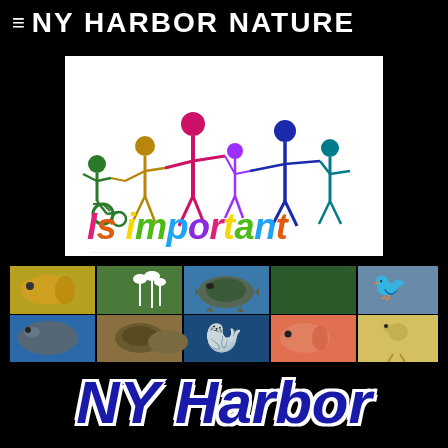≡ NY HARBOR NATURE
[Figure (illustration): Colorful diversity illustration showing stick figures including a person in a wheelchair holding hands in a chain, with a large 'Is important' text in rainbow/multicolor lettering below]
[Figure (photo): Photo strip collage showing various NY Harbor wildlife including fish, egrets, sea turtles, dolphins, seahorse, shorebirds (plover chick), seals, and other animals]
NY Harbor